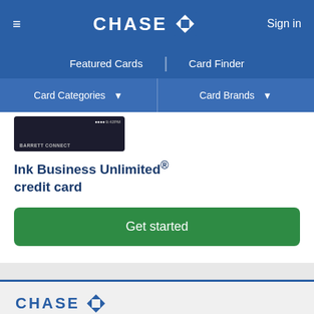CHASE — Sign in
Featured Cards | Card Finder
Card Categories ▾   Card Brands ▾
[Figure (screenshot): Ink Business Unlimited credit card image (dark background card)]
Ink Business Unlimited® credit card
Get started
[Figure (logo): Chase logo in blue with octagon icon]
Follow us:
[Figure (illustration): Social media icons: Facebook, Instagram, Twitter, YouTube, LinkedIn, Pinterest]